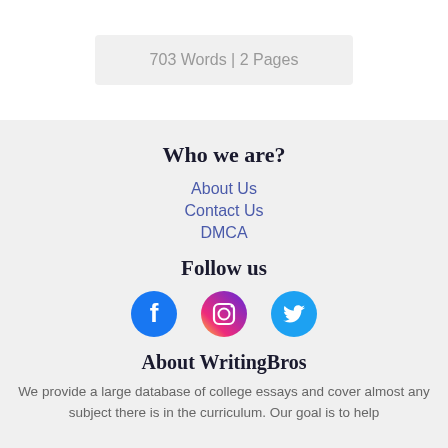703 Words | 2 Pages
Who we are?
About Us
Contact Us
DMCA
Follow us
[Figure (illustration): Three social media icons: Facebook (blue circle with f), Instagram (gradient circle with camera), Twitter (blue bird)]
About WritingBros
We provide a large database of college essays and cover almost any subject there is in the curriculum. Our goal is to help